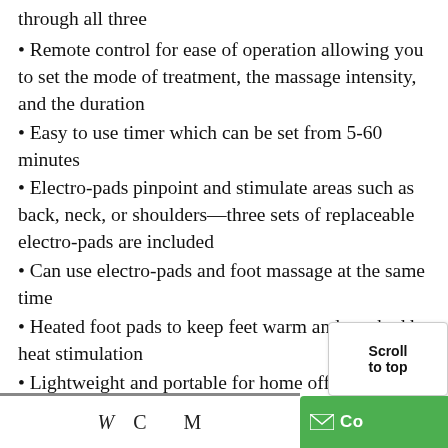through all three
Remote control for ease of operation allowing you to set the mode of treatment, the massage intensity, and the duration
Easy to use timer which can be set from 5-60 minutes
Electro-pads pinpoint and stimulate areas such as back, neck, or shoulders—three sets of replaceable electro-pads are included
Can use electro-pads and foot massage at the same time
Heated foot pads to keep feet warm and soothed by heat stimulation
Lightweight and portable for home office, or travel